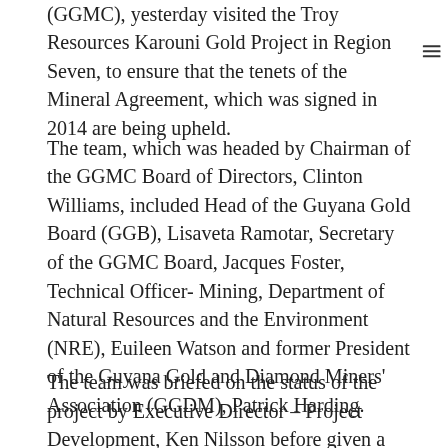(GGMC), yesterday visited the Troy Resources Karouni Gold Project in Region Seven, to ensure that the tenets of the Mineral Agreement, which was signed in 2014 are being upheld.
The team, which was headed by Chairman of the GGMC Board of Directors, Clinton Williams, included Head of the Guyana Gold Board (GGB), Lisaveta Ramotar, Secretary of the GGMC Board, Jacques Foster, Technical Officer- Mining, Department of Natural Resources and the Environment (NRE), Euileen Watson and former President of the Guyana Gold and Diamond Miners' Association (GGDM), Patrick Harding.
The team was briefed on the status of the project by Executive Director – Project Development, Ken Nilsson before given a full tour of the Karouni operations.